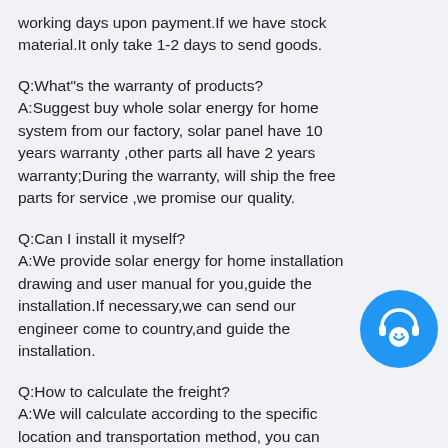working days upon payment.If we have stock material.It only take 1-2 days to send goods.
Q:What"s the warranty of products?
A:Suggest buy whole solar energy for home system from our factory, solar panel have 10 years warranty ,other parts all have 2 years warranty;During the warranty, will ship the free parts for service ,we promise our quality.
Q:Can I install it myself?
A:We provide solar energy for home installation drawing and user manual for you,guide the installation.If necessary,we can send our engineer come to country,and guide the installation.
Q:How to calculate the freight?
A:We will calculate according to the specific location and transportation method, you can discuss it in detail with us.
Q:Can we get support if we have our own market
[Figure (illustration): Blue circular chat/support icon with headset and smiley face]